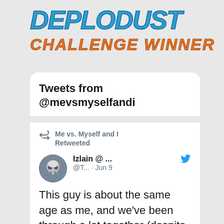[Figure (illustration): Stylized graffiti-style text reading 'CHALLENGE WINNER' in blue and orange letters on a light grey background]
Tweets from @mevsmyselfandi
Me vs. Myself and I Retweeted
Izlain @ ... @T... · Jun 9
This guy is about the same age as me, and we've been through a lot together (despite not knowing each other, obviously) and this shit is so wholesome.
♡ 1